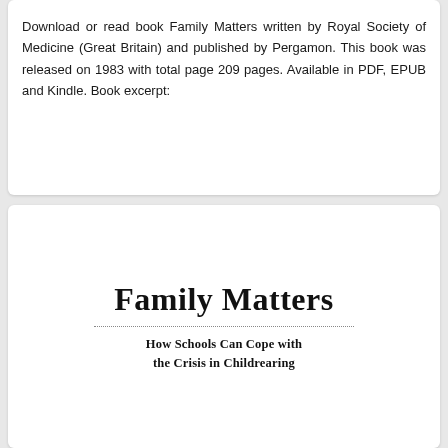Download or read book Family Matters written by Royal Society of Medicine (Great Britain) and published by Pergamon. This book was released on 1983 with total page 209 pages. Available in PDF, EPUB and Kindle. Book excerpt:
[Figure (illustration): Book cover image showing the title 'Family Matters' in large bold serif font, a dotted horizontal line beneath the title, and subtitle 'How Schools Can Cope with the Crisis in Childrearing' in bold serif font below.]